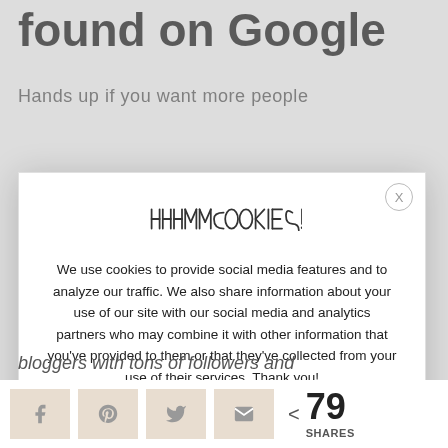found on Google
Hands up if you want more people
[Figure (screenshot): Cookie consent modal dialog with 'HHHMM COOKIES!' heading, cookie policy text, and three buttons: Read More, ACCEPT, SETTINGS. A close (X) button is in the top right corner.]
bloggers with tons of followers and huge communities. They started small
< 79 SHARES